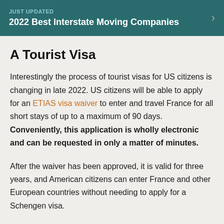JUST UPDATED
2022 Best Interstate Moving Companies
A Tourist Visa
Interestingly the process of tourist visas for US citizens is changing in late 2022. US citizens will be able to apply for an ETIAS visa waiver to enter and travel France for all short stays of up to a maximum of 90 days. Conveniently, this application is wholly electronic and can be requested in only a matter of minutes.
After the waiver has been approved, it is valid for three years, and American citizens can enter France and other European countries without needing to apply for a Schengen visa.
The Process Involved With Moving